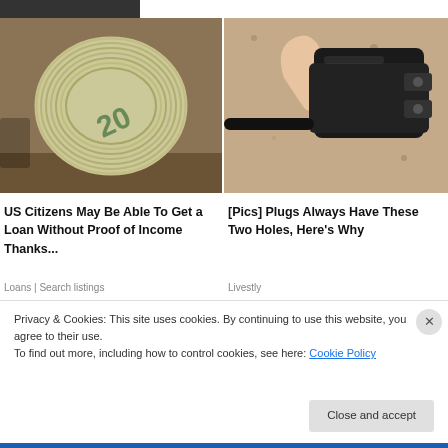[Figure (photo): Roll of US $20 dollar bills on a wooden surface]
[Figure (photo): Hand holding a black electrical plug close-up]
US Citizens May Be Able To Get a Loan Without Proof of Income Thanks...
Loans | Search listings
[Pics] Plugs Always Have These Two Holes, Here's Why
Livestly
Privacy & Cookies: This site uses cookies. By continuing to use this website, you agree to their use.
To find out more, including how to control cookies, see here: Cookie Policy